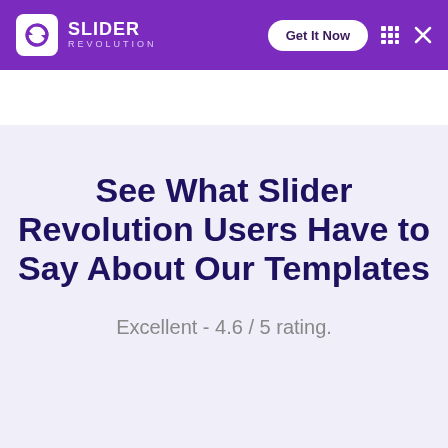SLIDER REVOLUTION — Get It Now
See What Slider Revolution Users Have to Say About Our Templates
Excellent - 4.6 / 5 rating.